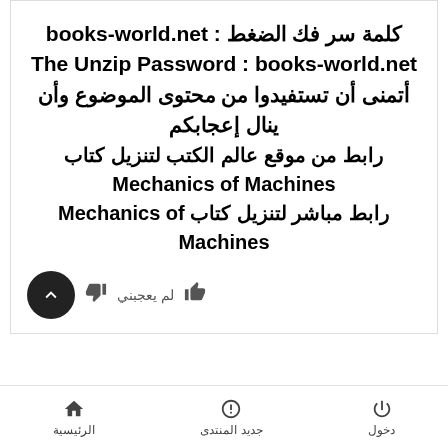كلمة سر فك الضغط : books-world.net
The Unzip Password : books-world.net
أتمنى أن تستفيدوا من محتوى الموضوع وأن ينال إعجابكم
رابط من موقع عالم الكتب لتنزيل كتاب Mechanics of Machines
رابط مباشر لتنزيل كتاب Mechanics of Machines